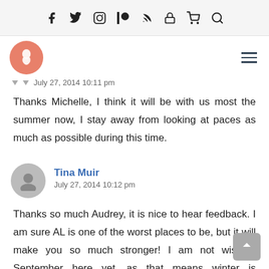Social media navigation icons: Facebook, Twitter, Instagram, Patreon, RSS, Lock, Cart, Search
[Figure (logo): Site logo: orange circle with white foot/running figure icon, and hamburger menu icon on right]
July 27, 2014 10:11 pm
Thanks Michelle, I think it will be with us most the summer now, I stay away from looking at paces as much as possible during this time.
Tina Muir
July 27, 2014 10:12 pm
Thanks so much Audrey, it is nice to hear feedback. I am sure AL is one of the worst places to be, but it will make you so much stronger! I am not wishing September here yet....as that means winter is coming!